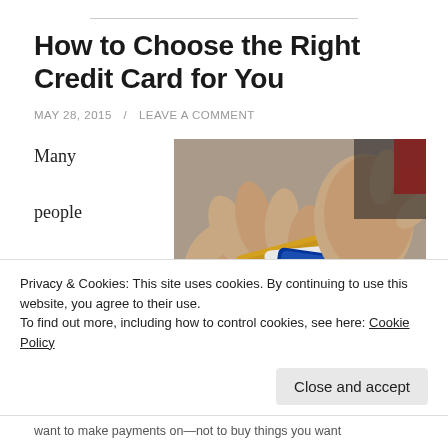How to Choose the Right Credit Card for You
MAY 28, 2015 / LEAVE A COMMENT
Many people fall into debt as the
[Figure (photo): Hands holding multiple credit cards including a gold card and a Citibank card]
Privacy & Cookies: This site uses cookies. By continuing to use this website, you agree to their use.
To find out more, including how to control cookies, see here: Cookie Policy
Close and accept
want to make payments on—not to buy things you want